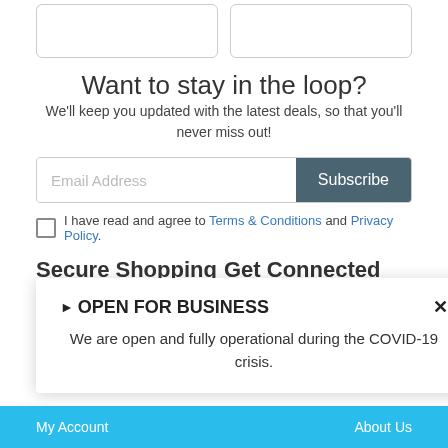[Figure (other): Two card stubs visible at top of page]
Want to stay in the loop?
We'll keep you updated with the latest deals, so that you'll never miss out!
[Figure (other): Email address input field with Subscribe button]
I have read and agree to Terms & Conditions and Privacy Policy.
Secure Shopping
Get Connected
Fully protected by Cloudflare
Join our social networks
[Figure (logo): Cloudflare orange cloud logo]
▶ OPEN FOR BUSINESS
We are open and fully operational during the COVID-19 crisis.
BOUT US
My Account   About Us